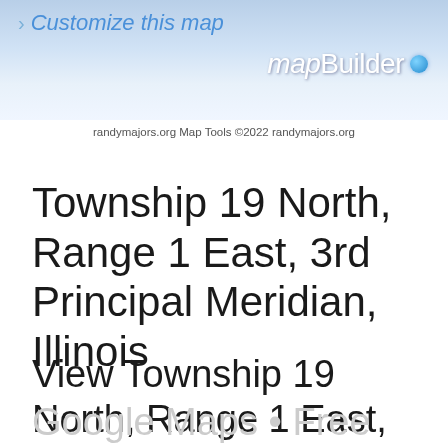[Figure (screenshot): mapBuilder header banner with 'Customize this map' link and mapBuilder logo with blue dot]
randymajors.org Map Tools ©2022 randymajors.org
Township 19 North, Range 1 East, 3rd Principal Meridian, Illinois
View Township 19 North, Range 1 East, 3rd Principal Meridian, Illinois Section Township Range map on
Google Maps • Free